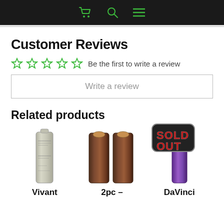Navigation bar with cart, search, and menu icons
Customer Reviews
☆☆☆☆☆ Be the first to write a review
Write a review
Related products
[Figure (photo): Single light grey cylindrical battery (Vivant product)]
[Figure (photo): Two brown cylindrical batteries side by side (2pc product)]
[Figure (photo): Purple cylindrical battery with Sold Out badge overlay (DaVinci product)]
Vivant
2pc –
DaVinci